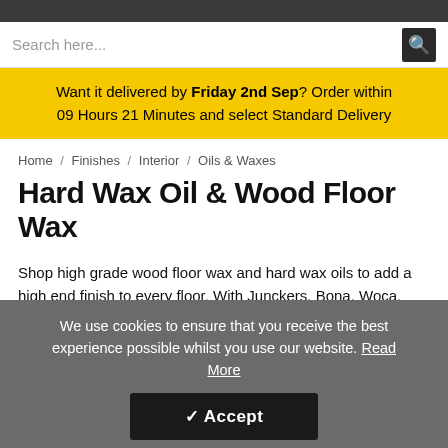Search here...
Want it delivered by Friday 2nd Sep? Order within 09 Hours 21 Minutes and select Standard Delivery
Home / Finishes / Interior / Oils & Waxes
Hard Wax Oil & Wood Floor Wax
Shop high grade wood floor wax and hard wax oils to add a high end finish to every floor. With Junckers, Bona, Woca, Osmo and other renowned brand names in our collection, you will find the highest quality products at affordable trade prices.
We use cookies to ensure that you receive the best experience possible whilst you use our website. Read More
Accept